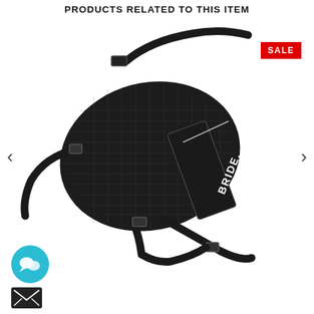PRODUCTS RELATED TO THIS ITEM
[Figure (photo): Black BRIDE branded mesh shoulder/sling bag with adjustable straps and metal buckles, displayed on white background with a red SALE badge in the upper right corner.]
[Figure (other): Teal circular chat bubble icon in the lower left corner]
[Figure (other): Black email/envelope icon button in the lower left corner below the chat icon]